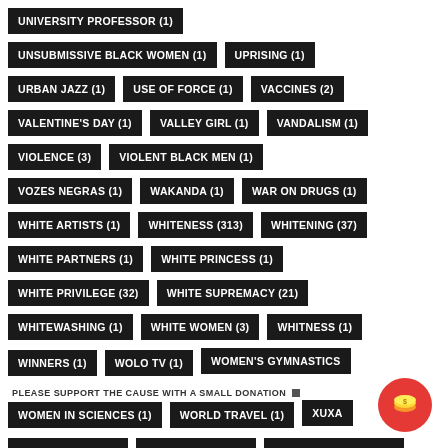UNIVERSITY PROFESSOR (1)
UNSUBMISSIVE BLACK WOMEN (1)
UPRISING (1)
URBAN JAZZ (1)
USE OF FORCE (1)
VACCINES (2)
VALENTINE'S DAY (1)
VALLEY GIRL (1)
VANDALISM (1)
VIOLENCE (3)
VIOLENT BLACK MEN (1)
VOZES NEGRAS (1)
WAKANDA (1)
WAR ON DRUGS (1)
WHITE ARTISTS (1)
WHITENESS (313)
WHITENING (37)
WHITE PARTNERS (1)
WHITE PRINCESS (1)
WHITE PRIVILEGE (32)
WHITE SUPREMACY (21)
WHITEWASHING (1)
WHITE WOMEN (3)
WHITNESS (1)
WINNERS (1)
WOLO TV (1)
WOMEN'S GYMNASTICS
WOMEN IN SCIENCES (1)
WORLD TRAVEL (1)
XUXA
PLEASE SUPPORT THE CAUSE WITH A SMALL DONATION